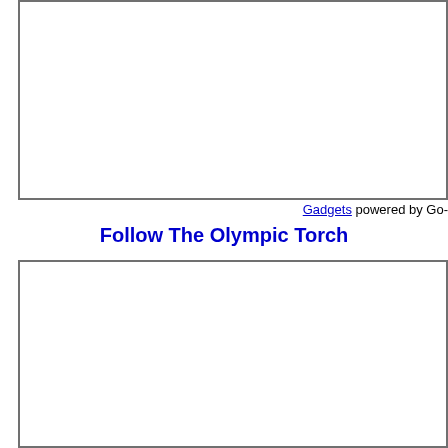[Figure (other): Empty white box with gray border (top widget area, partially cropped)]
Gadgets powered by Go-
Follow The Olympic Torch
[Figure (other): Empty white box with gray border (bottom widget area, partially cropped)]